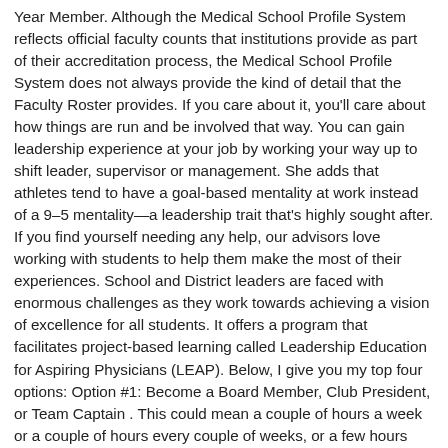Year Member. Although the Medical School Profile System reflects official faculty counts that institutions provide as part of their accreditation process, the Medical School Profile System does not always provide the kind of detail that the Faculty Roster provides. If you care about it, you'll care about how things are run and be involved that way. You can gain leadership experience at your job by working your way up to shift leader, supervisor or management. She adds that athletes tend to have a goal-based mentality at work instead of a 9–5 mentality—a leadership trait that's highly sought after. If you find yourself needing any help, our advisors love working with students to help them make the most of their experiences. School and District leaders are faced with enormous challenges as they work towards achieving a vision of excellence for all students. It offers a program that facilitates project-based learning called Leadership Education for Aspiring Physicians (LEAP). Below, I give you my top four options: Option #1: Become a Board Member, Club President, or Team Captain . This could mean a couple of hours a week or a couple of hours every couple of weeks, or a few hours every month. Published online: 11 Nov 2020. , Contributor March 14, ... best. Leadership allows for physicians to advocate and have a seat to advance systemic change. The School Leadership specialization has been constructed to emphasize breadth of faith, intellectual, and ...